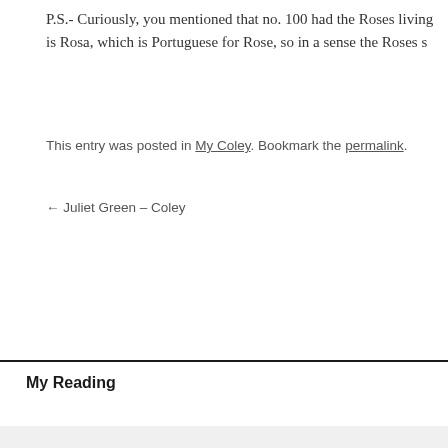P.S.- Curiously, you mentioned that no. 100 had the Roses living... is Rosa, which is Portuguese for Rose, so in a sense the Roses s...
This entry was posted in My Coley. Bookmark the permalink.
← Juliet Green – Coley
My Reading